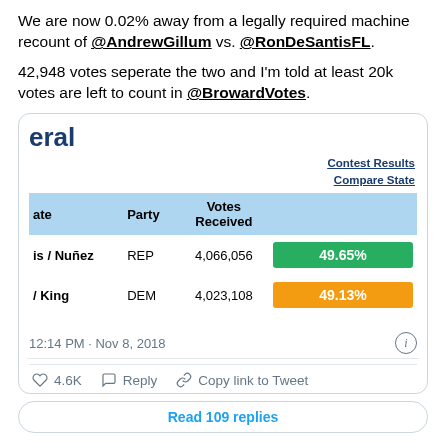We are now 0.02% away from a legally required machine recount of @AndrewGillum vs. @RonDeSantisFL.

42,948 votes seperate the two and I'm told at least 20k votes are left to count in @BrowardVotes.
[Figure (screenshot): Screenshot of Florida General Election Contest Results table showing DeSantis/Nuñez (REP) with 4,066,056 votes at 49.65% and Gillum/King (DEM) with 4,023,108 votes at 49.13%]
12:14 PM · Nov 8, 2018
4.6K  Reply  Copy link to Tweet
Read 109 replies